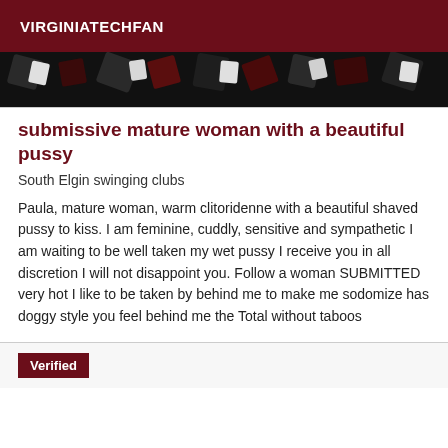VIRGINIATECHFAN
[Figure (photo): Decorative image strip with dark abstract pattern in black, white, and dark red tones]
submissive mature woman with a beautiful pussy
South Elgin swinging clubs
Paula, mature woman, warm clitoridenne with a beautiful shaved pussy to kiss. I am feminine, cuddly, sensitive and sympathetic I am waiting to be well taken my wet pussy I receive you in all discretion I will not disappoint you. Follow a woman SUBMITTED very hot I like to be taken by behind me to make me sodomize has doggy style you feel behind me the Total without taboos
Verified